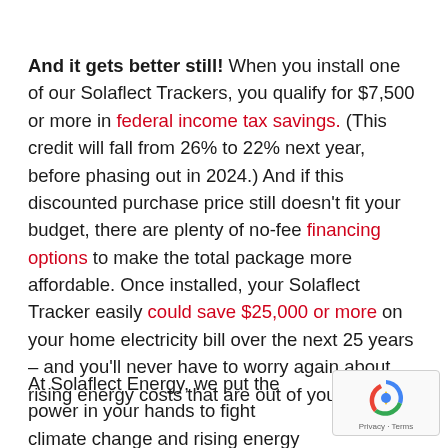And it gets better still! When you install one of our Solaflect Trackers, you qualify for $7,500 or more in federal income tax savings. (This credit will fall from 26% to 22% next year, before phasing out in 2024.) And if this discounted purchase price still doesn't fit your budget, there are plenty of no-fee financing options to make the total package more affordable. Once installed, your Solaflect Tracker easily could save $25,000 or more on your home electricity bill over the next 25 years – and you'll never have to worry again about rising energy costs that are out of your control.
At Solaflect Energy, we put the power in your hands to fight climate change and rising energy costs. For more information, email us or call (802) 649-3700